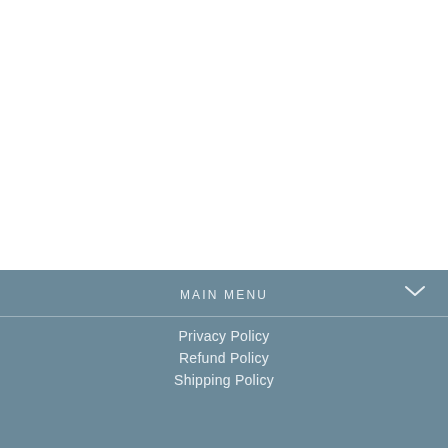MAIN MENU
Privacy Policy
Refund Policy
Shipping Policy